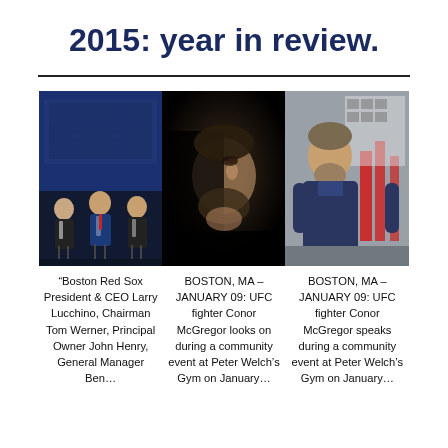2015: year in review.
[Figure (photo): Three-panel photo strip. Left: Boston Red Sox executives seated on stage at an event. Center: dramatic close-up portrait of UFC fighter Conor McGregor in dark lighting. Right: UFC fighter Conor McGregor in a gym setting with red equipment visible in background.]
“Boston Red Sox President & CEO Larry Lucchino, Chairman Tom Werner, Principal Owner John Henry, General Manager Ben...
BOSTON, MA – JANUARY 09: UFC fighter Conor McGregor looks on during a community event at Peter Welch’s Gym on January...
BOSTON, MA – JANUARY 09: UFC fighter Conor McGregor speaks during a community event at Peter Welch’s Gym on January...